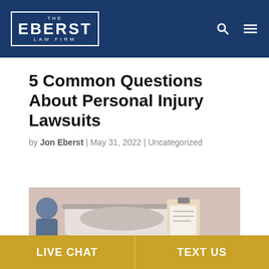THE EBERST LAW FIRM
5 Common Questions About Personal Injury Lawsuits
by Jon Eberst | May 31, 2022 | Uncategorized
[Figure (photo): A person in a hospital bed with a clipboard, suggesting a personal injury or medical setting]
LIVE CHAT | TEXT US